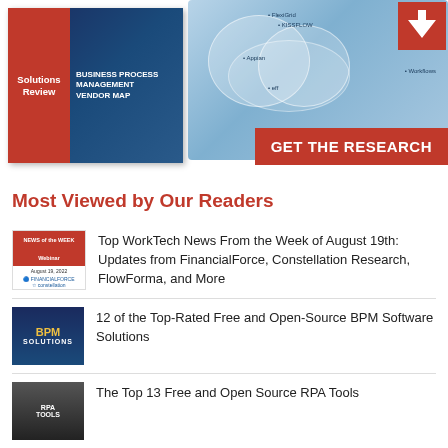[Figure (infographic): Banner showing Solutions Review Business Process Management Vendor Map book cover on left, vendor map diagram with overlapping circles and company names in center, red download arrow top right, and red GET THE RESEARCH button bottom right.]
Most Viewed by Our Readers
[Figure (photo): Thumbnail: News of the Week Webinar - FinancialForce, Constellation, FlowForma logos]
Top WorkTech News From the Week of August 19th: Updates from FinancialForce, Constellation Research, FlowForma, and More
[Figure (photo): Thumbnail: BPM Solutions book cover with blue background]
12 of the Top-Rated Free and Open-Source BPM Software Solutions
[Figure (photo): Thumbnail: Dark image for RPA Tools article]
The Top 13 Free and Open Source RPA Tools